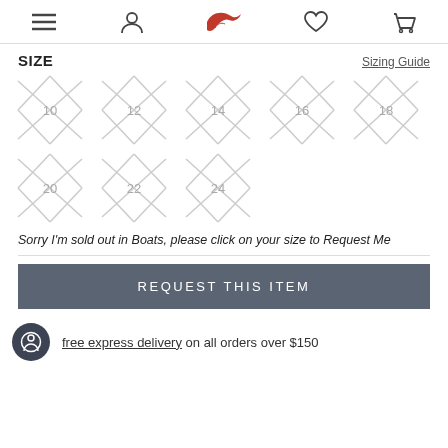Navigation bar with menu, user, bird logo, heart, and cart icons
SIZE
Sizing Guide
[Figure (other): Size selection grid showing sizes 10, 12, 14, 16, 18 (row 1) and 20, 22, 24 (row 2), all marked with X indicating sold out]
Sorry I'm sold out in Boats, please click on your size to Request Me
REQUEST THIS ITEM
free express delivery on all orders over $150